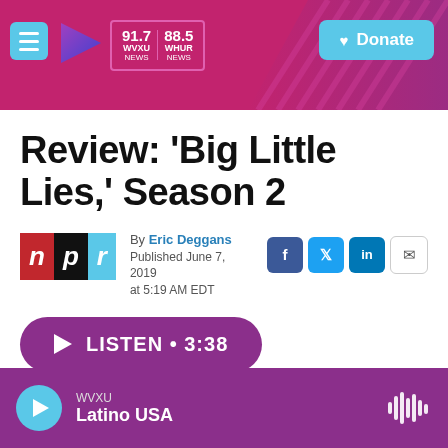WVXU 91.7 NEWS | WHUR 88.5 NEWS | Donate
Review: 'Big Little Lies,' Season 2
By Eric Deggans
Published June 7, 2019 at 5:19 AM EDT
[Figure (logo): NPR logo]
LISTEN • 3:38
WVXU Latino USA